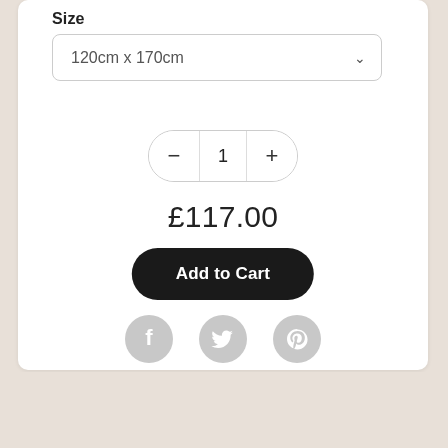Size
120cm x 170cm
1
£117.00
Add to Cart
[Figure (other): Three social sharing icons: Facebook (f), Twitter (bird), Pinterest (p), all in light grey circles]